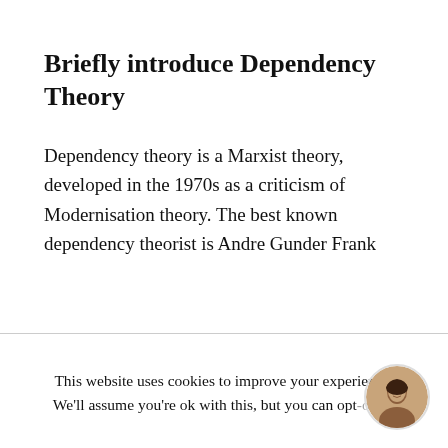Briefly introduce Dependency Theory
Dependency theory is a Marxist theory, developed in the 1970s as a criticism of Modernisation theory. The best known dependency theorist is Andre Gunder Frank
This website uses cookies to improve your experience. We'll assume you're ok with this, but you can opt-out if